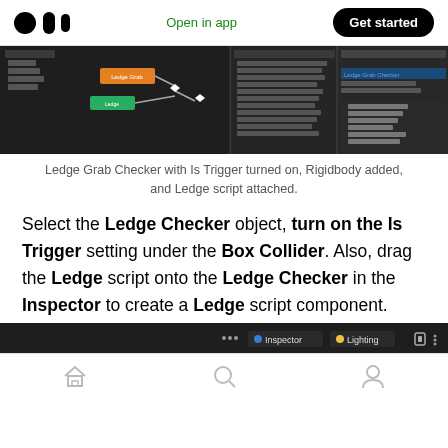Medium logo | Open in app | Get started
[Figure (screenshot): Unity editor screenshot showing Ledge Grab Checker node graph, hierarchy panel, and Inspector with Is Trigger and Ledge script settings]
Ledge Grab Checker with Is Trigger turned on, Rigidbody added, and Ledge script attached.
Select the Ledge Checker object, turn on the Is Trigger setting under the Box Collider. Also, drag the Ledge script onto the Ledge Checker in the Inspector to create a Ledge script component.
[Figure (screenshot): Unity editor bottom bar showing Inspector and Lighting tabs]
Navigation bar with home, search, and profile icons